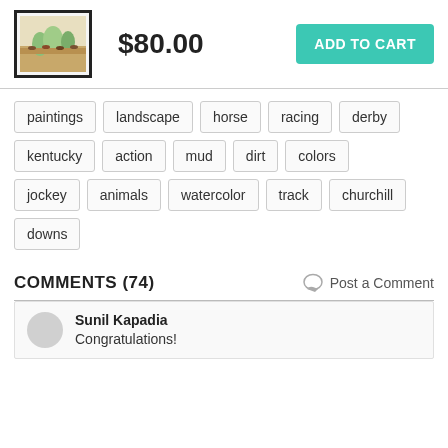[Figure (illustration): Small framed thumbnail image of a horse racing painting]
$80.00
ADD TO CART
paintings
landscape
horse
racing
derby
kentucky
action
mud
dirt
colors
jockey
animals
watercolor
track
churchill
downs
COMMENTS (74)
Post a Comment
Sunil Kapadia
Congratulations!